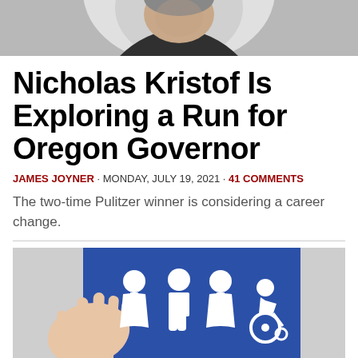[Figure (photo): Black and white photo of Nicholas Kristof, cropped at shoulders, partial view at top of page]
Nicholas Kristof Is Exploring a Run for Oregon Governor
JAMES JOYNER · MONDAY, JULY 19, 2021 · 41 COMMENTS
The two-time Pulitzer winner is considering a career change.
[Figure (photo): Photo of a blue gender neutral restroom sign with icons of female, male, non-binary, and wheelchair-accessible person figures. A hand is visible touching the sign on the left side. Text at bottom reads GENDER NEUTRAL.]